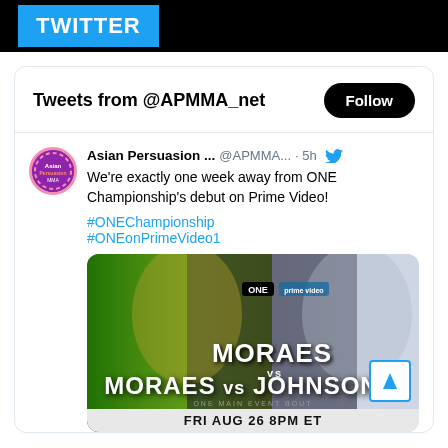TWITTER
Tweets from @APMMA_net
Asian Persuasion ... @APMMA... · 5h
We're exactly one week away from ONE Championship's debut on Prime Video!

#ONEChampionship
#ONEonPrimeVideo1
[Figure (photo): Fight promotional image for Moraes vs Johnson II on ONE Championship, FRI AUG 26 8PM ET]